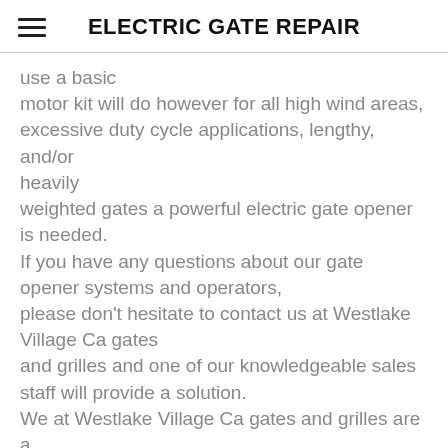ELECTRIC GATE REPAIR
use a basic motor kit will do however for all high wind areas, excessive duty cycle applications, lengthy, and/or heavily weighted gates a powerful electric gate opener is needed. If you have any questions about our gate opener systems and operators, please don't hesitate to contact us at Westlake Village Ca gates and grilles and one of our knowledgeable sales staff will provide a solution. We at Westlake Village Ca gates and grilles are a CAME certified company which installs and supplies electric gate openers and repairs to the largest section